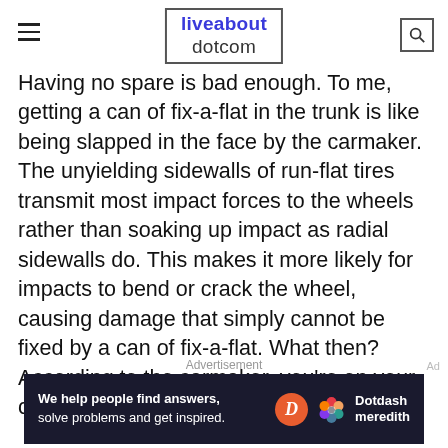liveabout dotcom
Having no spare is bad enough. To me, getting a can of fix-a-flat in the trunk is like being slapped in the face by the carmaker. The unyielding sidewalls of run-flat tires transmit most impact forces to the wheels rather than soaking up impact as radial sidewalls do. This makes it more likely for impacts to bend or crack the wheel, causing damage that simply cannot be fixed by a can of fix-a-flat. What then? According to the carmaker, you're on your own, often in more ways than one...
Advertisement
[Figure (other): Advertisement banner: dark navy background with text 'We help people find answers, solve problems and get inspired.' alongside Dotdash Meredith logo (orange D circle and colorful flower icon).]